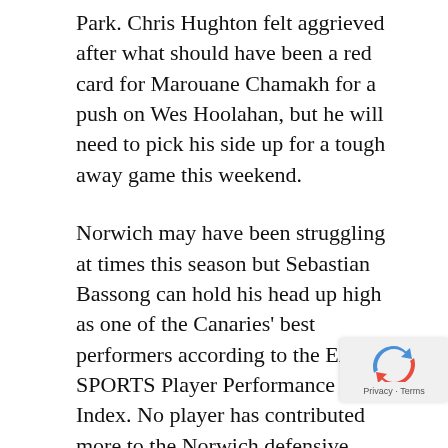Park. Chris Hughton felt aggrieved after what should have been a red card for Marouane Chamakh for a push on Wes Hoolahan, but he will need to pick his side up for a tough away game this weekend.
Norwich may have been struggling at times this season but Sebastian Bassong can hold his head up high as one of the Canaries' best performers according to the EA SPORTS Player Performance Index. No player has contributed more to the Norwich defensive effort than Bassong, who leads the squad for defensive contributions (blocks, interceptions, tackles won, clearances) with 153.
Leroy Fer may prove to be one of Chris Hughton's best pieces of business during his tenure as Norwich boss if he continues in his current fo... However Fer may have to adapt his tackling s... slightly following his summer move, drawing the...